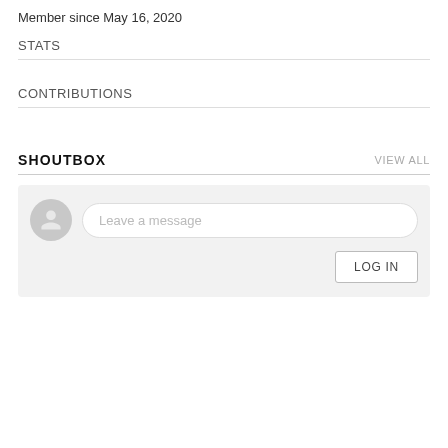Member since May 16, 2020
STATS
CONTRIBUTIONS
SHOUTBOX
VIEW ALL
Leave a message
LOG IN
Z.Younk 1y
Hear this yet? I think I saw you rated other Stu Bangas projects
https://www.albumoftheyear.org/album/358830-eric-bobo-stu-bangas-empires.php